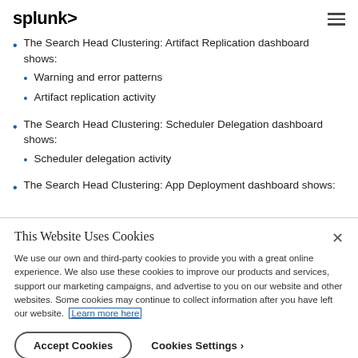splunk>
The Search Head Clustering: Artifact Replication dashboard shows:
Warning and error patterns
Artifact replication activity
The Search Head Clustering: Scheduler Delegation dashboard shows:
Scheduler delegation activity
The Search Head Clustering: App Deployment dashboard shows:
This Website Uses Cookies

We use our own and third-party cookies to provide you with a great online experience. We also use these cookies to improve our products and services, support our marketing campaigns, and advertise to you on our website and other websites. Some cookies may continue to collect information after you have left our website. Learn more here
Accept Cookies   Cookies Settings >